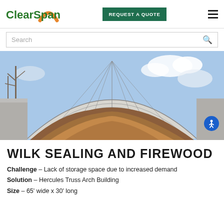ClearSpan | REQUEST A QUOTE
[Figure (photo): ClearSpan arched fabric building sheltering a large pile of wood chips/firewood, with concrete block walls on sides, blue sky and bare trees in background.]
WILK SEALING AND FIREWOOD
Challenge – Lack of storage space due to increased demand
Solution – Hercules Truss Arch Building
Size – 65' wide x 30' long